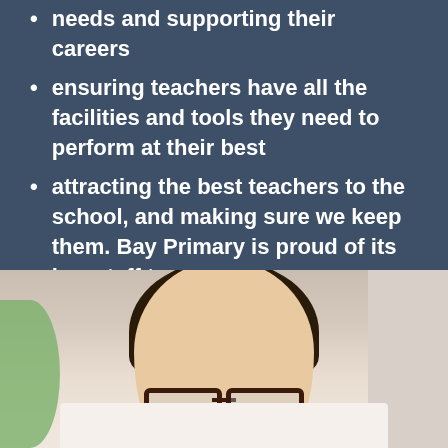needs and supporting their careers
ensuring teachers have all the facilities and tools they need to perform at their best
attracting the best teachers to the school, and making sure we keep them. Bay Primary is proud of its low staff turnover.
[Figure (photo): Close-up photo of a young boy with dark curly hair and glasses, looking down, with a green plant visible on the left and a light background on the right]